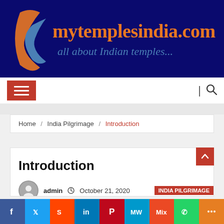[Figure (logo): mytemplesindia.com logo with orange crescent shapes and text 'mytemplesindia.com all about Indian temples...' on dark navy blue background]
[Figure (screenshot): Navigation bar with red hamburger menu button on left and search icon on right]
Home / India Pilgrimage / Introduction
Introduction
admin   October 21, 2020   INDIA PILGRIMAGE
[Figure (screenshot): Social sharing bar at bottom with Facebook, Twitter, Reddit, LinkedIn, Pinterest, MW, Mix, WhatsApp, and More buttons]